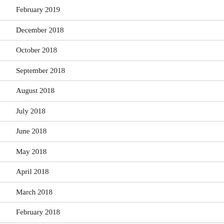February 2019
December 2018
October 2018
September 2018
August 2018
July 2018
June 2018
May 2018
April 2018
March 2018
February 2018